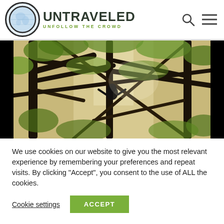[Figure (logo): Untraveled logo with globe circle icon, brand name UNTRAVELED and tagline UNFOLLOW THE CROWD]
[Figure (photo): A monkey hanging in a dense tropical forest canopy with tangled branches and green foliage, sunlight filtering through the trees]
We use cookies on our website to give you the most relevant experience by remembering your preferences and repeat visits. By clicking “Accept”, you consent to the use of ALL the cookies.
Cookie settings
ACCEPT